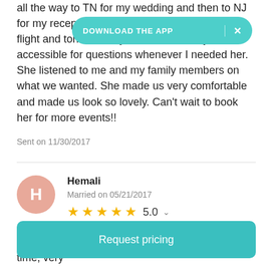all the way to TN for my wedding and then to NJ for my reception. [banner] late night flight and tons of delays. She was always accessible for questions whenever I needed her. She listened to me and my family members on what we wanted. She made us very comfortable and made us look so lovely. Can't wait to book her for more events!!
Sent on 11/30/2017
Hemali
Married on 05/21/2017
★★★★★ 5.0
Herneet was absolutely amazing!! She was on time, very
Request pricing